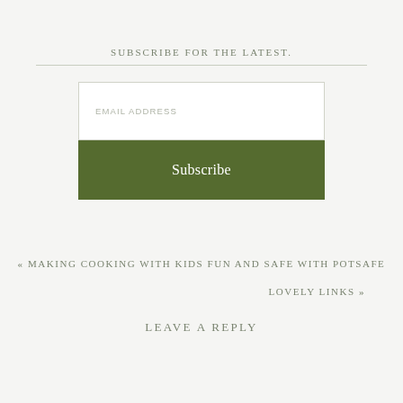SUBSCRIBE FOR THE LATEST.
[Figure (other): Email subscription form with an email address input field and a green Subscribe button]
« MAKING COOKING WITH KIDS FUN AND SAFE WITH POTSAFE
LOVELY LINKS »
LEAVE A REPLY